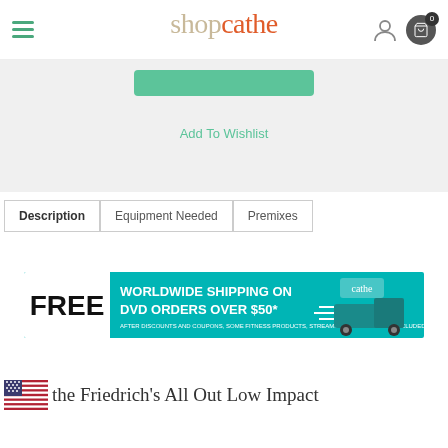shopcathe
Add To Wishlist
Description | Equipment Needed | Premixes
[Figure (infographic): FREE WORLDWIDE SHIPPING ON DVD ORDERS OVER $50* banner with delivery truck and Cathe logo]
the Friedrich's All Out Low Impact